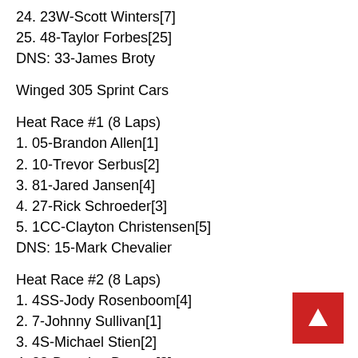24. 23W-Scott Winters[7]
25. 48-Taylor Forbes[25]
DNS: 33-James Broty
Winged 305 Sprint Cars
Heat Race #1 (8 Laps)
1. 05-Brandon Allen[1]
2. 10-Trevor Serbus[2]
3. 81-Jared Jansen[4]
4. 27-Rick Schroeder[3]
5. 1CC-Clayton Christensen[5]
DNS: 15-Mark Chevalier
Heat Race #2 (8 Laps)
1. 4SS-Jody Rosenboom[4]
2. 7-Johnny Sullivan[1]
3. 4S-Michael Stien[2]
4. 23-Brandon Bosma[3]
5. 24-Brandon Buysse[5]
6. 23C-Ben Crees[6]